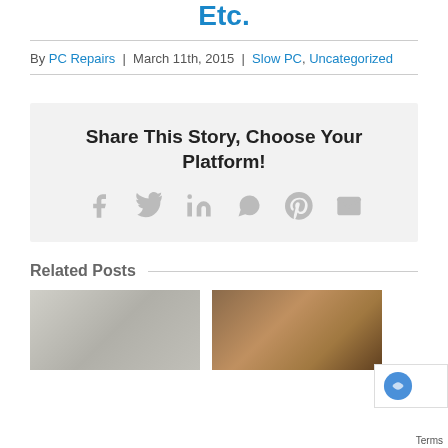Etc.
By PC Repairs | March 11th, 2015 | Slow PC, Uncategorized
Share This Story, Choose Your Platform!
[Figure (infographic): Social sharing icons: Facebook, Twitter, LinkedIn, WhatsApp, Pinterest, Email]
Related Posts
[Figure (photo): Left related post thumbnail image]
[Figure (photo): Right related post thumbnail image]